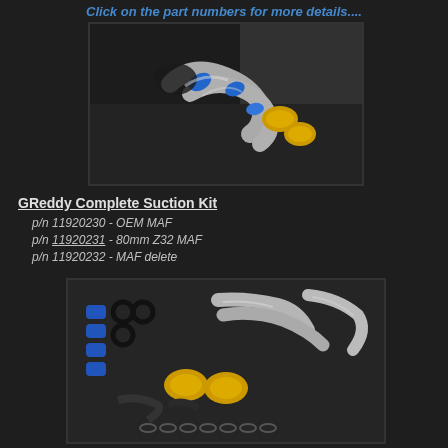Click on the part numbers for more details....
[Figure (photo): Engine bay photo showing GReddy intake pipes with blue silicone couplers and yellow cone air filters installed]
GReddy Complete Suction Kit
p/n 11920230 - OEM MAF
p/n 11920231 - 80mm Z32 MAF
p/n 11920232 - MAF delete
[Figure (photo): Product kit photo showing all GReddy Complete Suction Kit components laid out: polished aluminum pipes, blue silicone couplers, yellow cone filters, black rubber hoses, and various clamps and hardware]